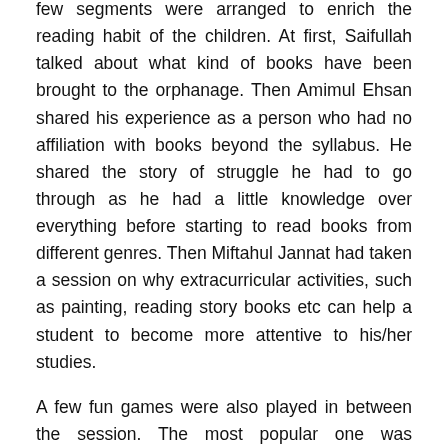few segments were arranged to enrich the reading habit of the children. At first, Saifullah talked about what kind of books have been brought to the orphanage. Then Amimul Ehsan shared his experience as a person who had no affiliation with books beyond the syllabus. He shared the story of struggle he had to go through as he had a little knowledge over everything before starting to read books from different genres. Then Miftahul Jannat had taken a session on why extracurricular activities, such as painting, reading story books etc can help a student to become more attentive to his/her studies.
A few fun games were also played in between the session. The most popular one was remembering as many as names of the books given by the BoiBodol team.
The orphans were overjoyed with this small but unique initiative. The owners of the orphanage also welcomed the team warmly. But they are also facing financial hardship as they are currently buying an addition portion of land for the